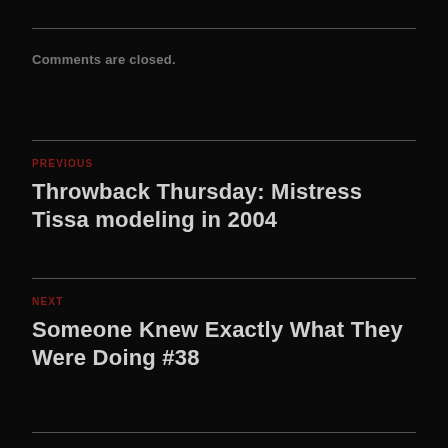Comments are closed.
PREVIOUS
Throwback Thursday: Mistress Tissa modeling in 2004
NEXT
Someone Knew Exactly What They Were Doing #38